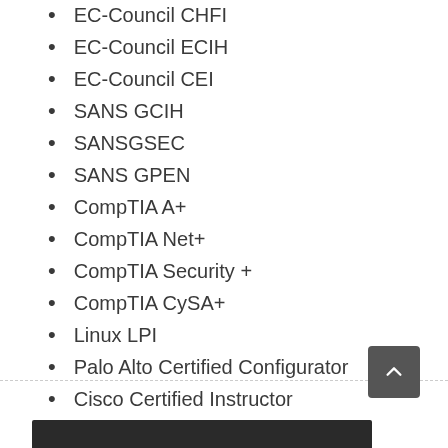EC-Council CHFI
EC-Council ECIH
EC-Council CEI
SANS GCIH
SANSGSEC
SANS GPEN
CompTIA A+
CompTIA Net+
CompTIA Security +
CompTIA CySA+
Linux LPI
Palo Alto Certified Configurator
Cisco Certified Instructor
[Figure (photo): Partial photo strip at bottom of page]
Back to top button